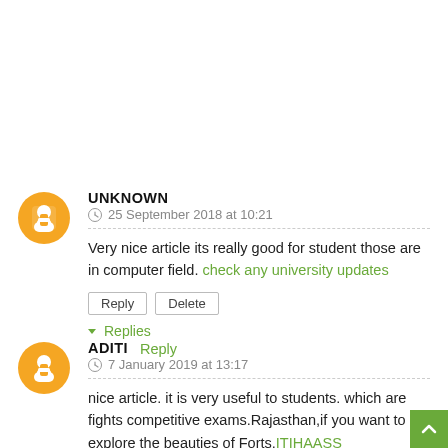UNKNOWN
25 September 2018 at 10:21
Very nice article its really good for student those are in computer field. check any university updates
Reply | Delete
▾ Replies
Reply
ADITI
7 January 2019 at 13:17
nice article. it is very useful to students. which are fights competitive exams.Rajasthan,if you want to explore the beauties of Forts.ITIHAASS